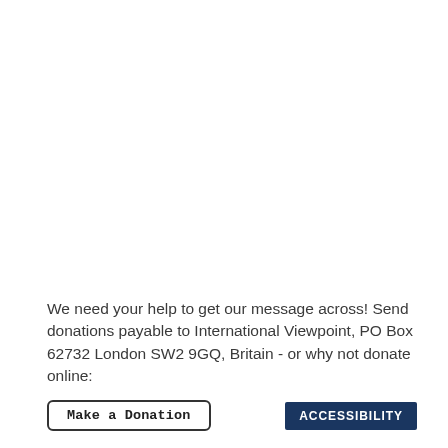We need your help to get our message across! Send donations payable to International Viewpoint, PO Box 62732 London SW2 9GQ, Britain - or why not donate online:
Make a Donation
ACCESSIBILITY